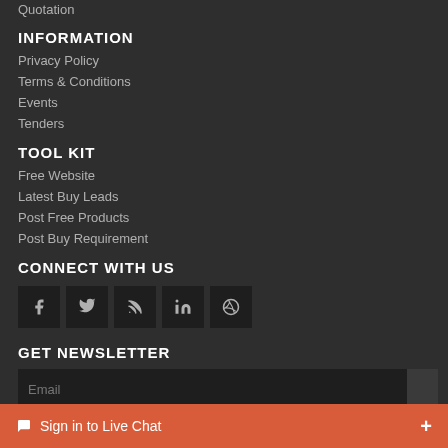Quotation
INFORMATION
Privacy Policy
Terms & Conditions
Events
Tenders
TOOL KIT
Free Website
Latest Buy Leads
Post Free Products
Post Buy Requirement
CONNECT WITH US
[Figure (other): Social media icons: Facebook, Twitter, RSS, LinkedIn, Dribbble]
GET NEWSLETTER
Email input field with submit button
Sign in to Live Chat